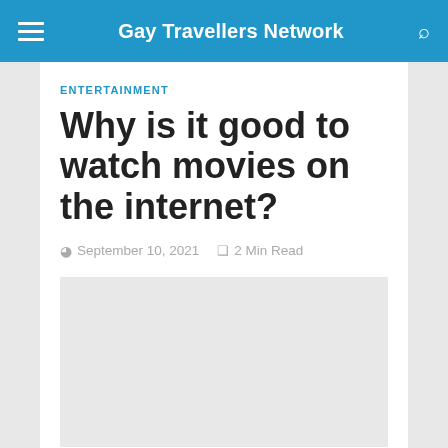Gay Travellers Network
ENTERTAINMENT
Why is it good to watch movies on the internet?
September 10, 2021   2 Min Read
[Figure (other): Light grey placeholder image block]